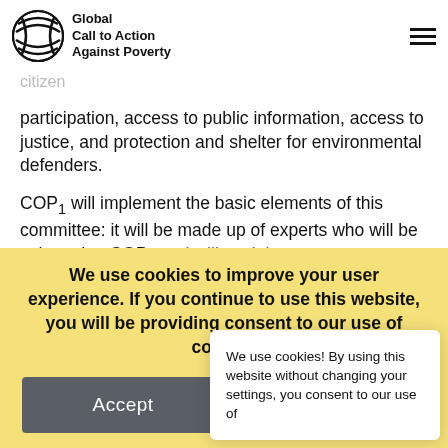Global Call to Action Against Poverty
...a violation of the Treaty and of allowing certain provisions to the countries to enforce the four central principles of the Agreement: guarantees for citizen participation, access to public information, access to justice, and protection and shelter for environmental defenders.
COP1 will implement the basic elements of this committee: it will be made up of experts who will be selected at COP2 and will work in... will be able to dr...
[Figure (screenshot): Small cookie consent popup overlay: 'We use cookies! By using this website without changing your settings, you consent to our use of']
We use cookies to improve your user experience. If you continue to use this website, you will be providing consent to our use of cookies
Accept | Decline